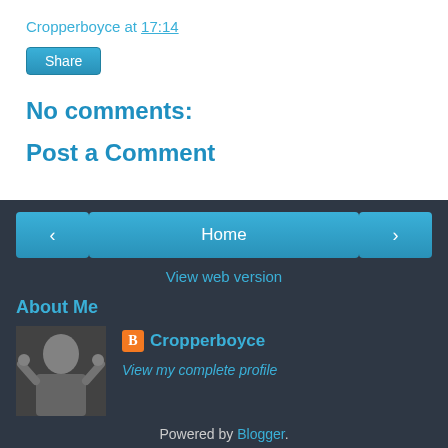Cropperboyce at 17:14
Share
No comments:
Post a Comment
‹
Home
›
View web version
About Me
[Figure (photo): Black and white photo of a person with hands raised to head]
Cropperboyce
View my complete profile
Powered by Blogger.